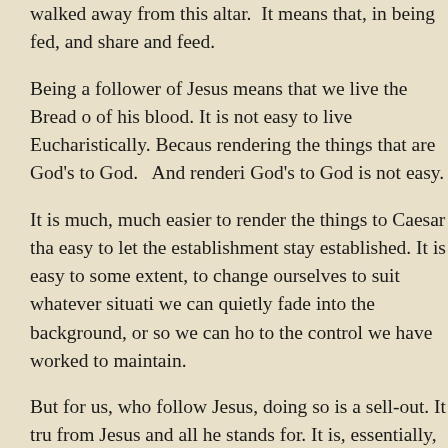walked away from this altar.  It means that, in being fed, and share and feed.
Being a follower of Jesus means that we live the Bread of his blood. It is not easy to live Eucharistically. Because rendering the things that are God's to God.   And rendering God's to God is not easy.
It is much, much easier to render the things to Caesar tha easy to let the establishment stay established. It is easy to some extent, to change ourselves to suit whatever situati we can quietly fade into the background, or so we can ho to the control we have worked to maintain.
But for us, who follow Jesus, doing so is a sell-out. It tru from Jesus and all he stands for. It is, essentially, a way i Christianity on and off like a switch to suit our own pers